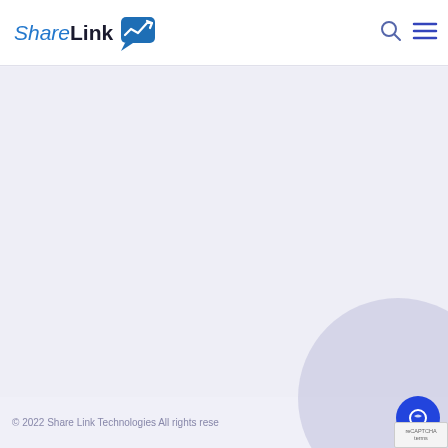ShareLink [logo with chat/chart icon]
[Figure (logo): ShareLink logo: blue italic 'Share' text, bold black 'Link' text, and a blue speech bubble icon with an upward trending arrow/chart graphic]
[Figure (other): Search icon (magnifying glass) in navigation header]
[Figure (other): Hamburger menu icon (three horizontal lines) in navigation header]
© 2022 Share Link Technologies All rights rese[rved]